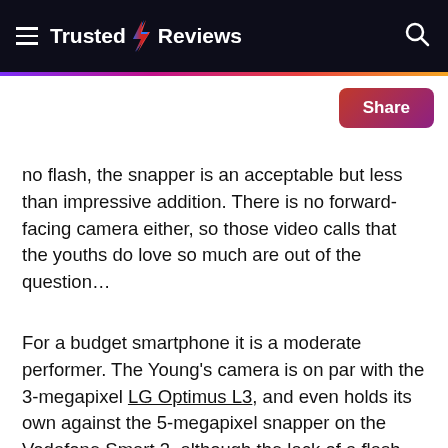Trusted Reviews
no flash, the snapper is an acceptable but less than impressive addition. There is no forward-facing camera either, so those video calls that the youths do love so much are out of the question…
For a budget smartphone it is a moderate performer. The Young's camera is on par with the 3-megapixel LG Optimus L3, and even holds its own against the 5-megapixel snapper on the Vodafone Smart 3, although the lack of a flash does restrict it. Lighting is not the camera's forte either; anything but bright sunlight means lifeless, murky photos. It's slow to adjust to changing light conditions, too.